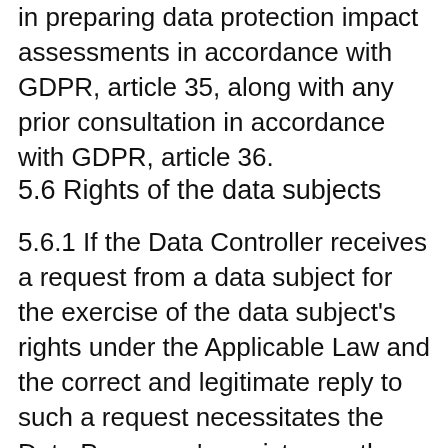in preparing data protection impact assessments in accordance with GDPR, article 35, along with any prior consultation in accordance with GDPR, article 36.
5.6 Rights of the data subjects
5.6.1 If the Data Controller receives a request from a data subject for the exercise of the data subject's rights under the Applicable Law and the correct and legitimate reply to such a request necessitates the Data Processor's assistance, the Data Processor shall assist the Data Controller by providing the necessary information and